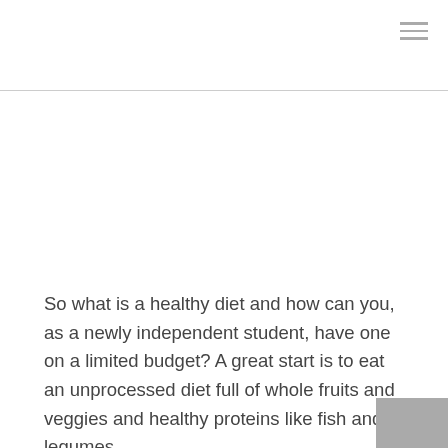So what is a healthy diet and how can you, as a newly independent student, have one on a limited budget? A great start is to eat an unprocessed diet full of whole fruits and veggies and healthy proteins like fish and legumes.
Being a student often means eating take-out, quick and easy (not always healthy) meals, instant noodles and generally food on the go. Late nights and early mornings